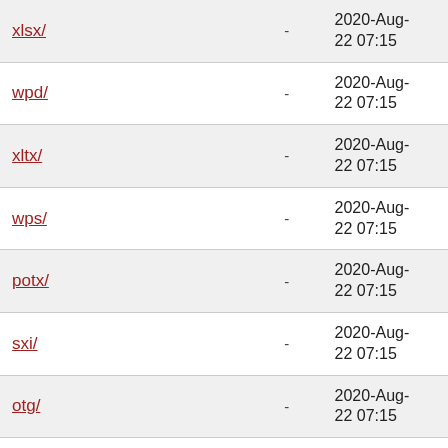| xlsx/ | - | 2020-Aug-22 07:15 |
| wpd/ | - | 2020-Aug-22 07:15 |
| xltx/ | - | 2020-Aug-22 07:15 |
| wps/ | - | 2020-Aug-22 07:15 |
| potx/ | - | 2020-Aug-22 07:15 |
| sxi/ | - | 2020-Aug-22 07:15 |
| otg/ | - | 2020-Aug-22 07:15 |
| otp/ | - | 2020-Aug-22 07:15 |
| stw/ | - | 2020-Aug-22 07:15 |
| odt/ | - | 2020-Aug-22 07:15 |
| ott/ | - | 2020-Aug-22 07:15 |